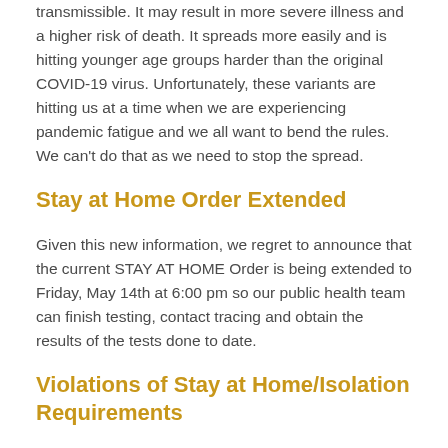transmissible. It may result in more severe illness and a higher risk of death. It spreads more easily and is hitting younger age groups harder than the original COVID-19 virus. Unfortunately, these variants are hitting us at a time when we are experiencing pandemic fatigue and we all want to bend the rules. We can't do that as we need to stop the spread.
Stay at Home Order Extended
Given this new information, we regret to announce that the current STAY AT HOME Order is being extended to Friday, May 14th at 6:00 pm so our public health team can finish testing, contact tracing and obtain the results of the tests done to date.
Violations of Stay at Home/Isolation Requirements
Everyone told to isolate must isolate and anyone who is not an essential worker must stay home. It has come to our attention that some people required to isolate have been letting their children leave the house and mingle